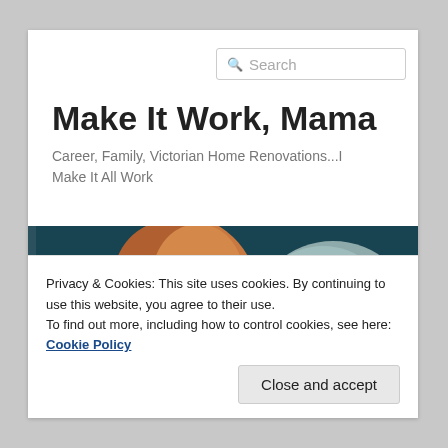Make It Work, Mama
Career, Family, Victorian Home Renovations...I Make It All Work
[Figure (photo): A red-haired baby looking at a large fish (manatee or similar) through aquarium glass, teal/dark water background]
Privacy & Cookies: This site uses cookies. By continuing to use this website, you agree to their use.
To find out more, including how to control cookies, see here: Cookie Policy
Close and accept